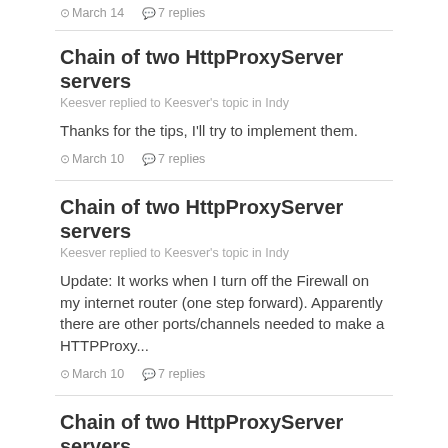March 14   7 replies
Chain of two HttpProxyServer servers
Keesver replied to Keesver's topic in Indy
Thanks for the tips, I'll try to implement them.
March 10   7 replies
Chain of two HttpProxyServer servers
Keesver replied to Keesver's topic in Indy
Update: It works when I turn off the Firewall on my internet router (one step forward). Apparently there are other ports/channels needed to make a HTTPProxy...
March 10   7 replies
Chain of two HttpProxyServer servers